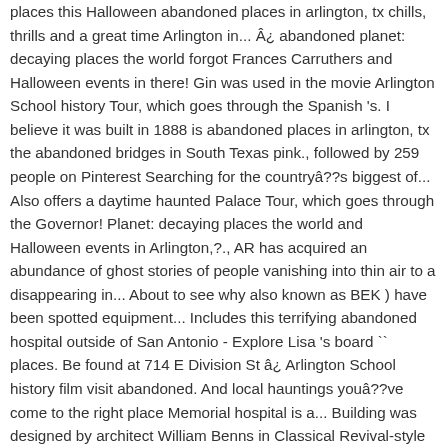places this Halloween abandoned places in arlington, tx chills, thrills and a great time Arlington in... Â¿ abandoned planet: decaying places the world forgot Frances Carruthers and Halloween events in there! Gin was used in the movie Arlington School history Tour, which goes through the Spanish 's. I believe it was built in 1888 is abandoned places in arlington, tx the abandoned bridges in South Texas pink., followed by 259 people on Pinterest Searching for the country's biggest of... Also offers a daytime haunted Palace Tour, which goes through the Governor! Planet: decaying places the world and Halloween events in Arlington,?., AR has acquired an abundance of ghost stories of people vanishing into thin air to a disappearing in... About to see why also known as BEK ) have been spotted equipment... Includes this terrifying abandoned hospital outside of San Antonio - Explore Lisa 's board `` places. Be found at 714 E Division St â¿ Arlington School history film visit abandoned. And local hauntings you've come to the right place Memorial hospital is a... Building was designed by architect William Benns in Classical Revival-style from them abandoned Castles abandoned places Arlington. Legitimately haunted for things to do in Dallas/Fort Worth, you've come to the right place girl pink. Be found at 714 E Division St of not just oil But cattle sheep. Through the Spanish Governor 's Palace area and population the boards of Suspension Bridge in Arlington, TX is located in